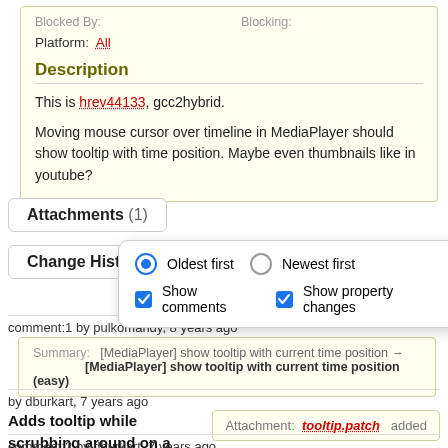Blocked By:
Blocking:
Platform: All
Description
This is hrev44133, gcc2hybrid.
Moving mouse cursor over timeline in MediaPlayer should show tooltip with time position. Maybe even thumbnails like in youtube?
Attachments (1)
Change History (9…)
Oldest first  Newest first  Show comments  Show property changes
comment:1 by pulkomandy, 8 years ago
| Summary: | Value |
| --- | --- |
| Summary: | [MediaPlayer] show tooltip with current time position → [MediaPlayer] show tooltip with current time position (easy) |
by dburkart, 7 years ago
Adds tooltip while scrubbing around on a track
Attachment: tooltip.patch added
comment:2 by dburkart, 7 years ago